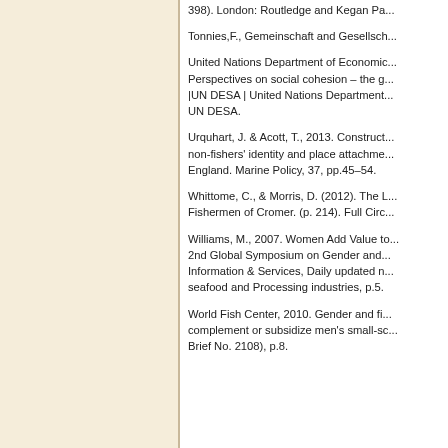398). London: Routledge and Kegan Pa...
Tonnies,F., Gemeinschaft and Gesellsch...
United Nations Department of Economic... Perspectives on social cohesion – the g... |UN DESA | United Nations Department... UN DESA.
Urquhart, J. & Acott, T., 2013. Construct... non-fishers' identity and place attachme... England. Marine Policy, 37, pp.45–54.
Whittome, C., & Morris, D. (2012). The L... Fishermen of Cromer. (p. 214). Full Circ...
Williams, M., 2007. Women Add Value to... 2nd Global Symposium on Gender and... Information & Services, Daily updated n... seafood and Processing industries, p.5.
World Fish Center, 2010. Gender and fi... complement or subsidize men's small-sc... Brief No. 2108), p.8.